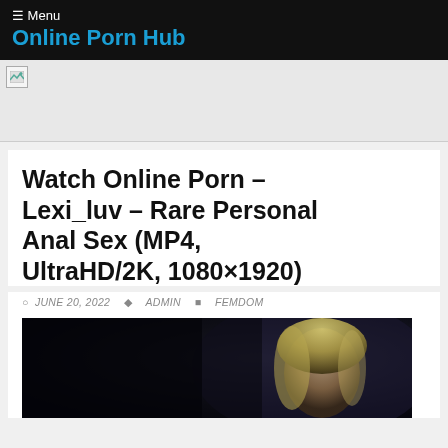☰ Menu
Online Porn Hub
[Figure (other): Broken/unloaded advertisement image placeholder in a light gray banner area]
Watch Online Porn – Lexi_luv – Rare Personal Anal Sex (MP4, UltraHD/2K, 1080×1920)
JUNE 20, 2022   ADMIN   FEMDOM
[Figure (photo): Dark thumbnail image showing partial view of a blonde person against a very dark background]